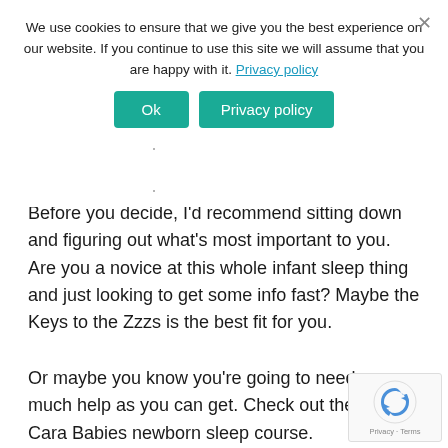We use cookies to ensure that we give you the best experience on our website. If you continue to use this site we will assume that you are happy with it. Privacy policy
Ok  Privacy policy
Before you decide, I'd recommend sitting down and figuring out what's most important to you. Are you a novice at this whole infant sleep thing and just looking to get some info fast? Maybe the Keys to the Zzzs is the best fit for you.
Or maybe you know you're going to need as much help as you can get. Check out the Taking Cara Babies newborn sleep course.